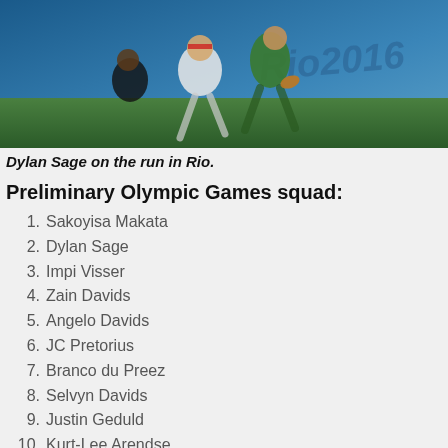[Figure (photo): Rugby sevens action photo showing Dylan Sage running with the ball in Rio, with the Rio 2016 Olympic branding visible in the background. Players in green/gold and white/red jerseys.]
Dylan Sage on the run in Rio.
Preliminary Olympic Games squad:
1. Sakoyisa Makata
2. Dylan Sage
3. Impi Visser
4. Zain Davids
5. Angelo Davids
6. JC Pretorius
7. Branco du Preez
8. Selvyn Davids
9. Justin Geduld
10. Kurt-Lee Arendse
11. Siviwe Soyizwapi
12. Stedman Gans